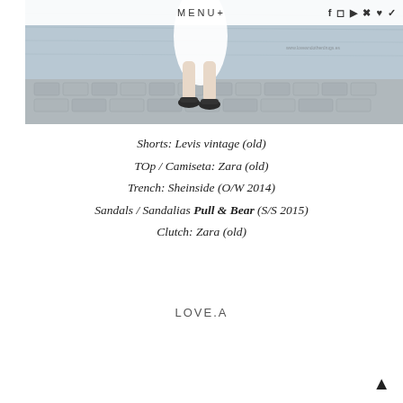MENU+
[Figure (photo): A person's legs and feet wearing black platform sandals, walking on cobblestone near water, wearing a white skirt or shorts.]
Shorts: Levis vintage (old)
TOp / Camiseta: Zara (old)
Trench: Sheinside (O/W 2014)
Sandals / Sandalias Pull & Bear (S/S 2015)
Clutch: Zara (old)
LOVE.A